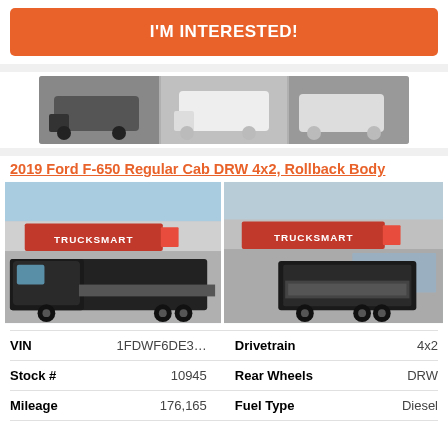I'M INTERESTED!
[Figure (photo): Banner image showing a row of white commercial trucks at a dealership]
2019 Ford F-650 Regular Cab DRW 4x2, Rollback Body
[Figure (photo): Two photos of a black 2019 Ford F-650 rollback truck parked in front of TruckSmart dealership — left photo shows front 3/4 view, right photo shows rear 3/4 view]
| Field | Value | Field | Value |
| --- | --- | --- | --- |
| VIN | 1FDWF6DE3… | Drivetrain | 4x2 |
| Stock # | 10945 | Rear Wheels | DRW |
| Mileage | 176,165 | Fuel Type | Diesel |